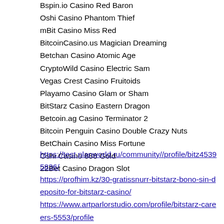Bspin.io Casino Red Baron
Oshi Casino Phantom Thief
mBit Casino Miss Red
BitcoinCasino.us Magician Dreaming
Betchan Casino Atomic Age
CryptoWild Casino Electric Sam
Vegas Crest Casino Fruitoids
Playamo Casino Glam or Sham
BitStarz Casino Eastern Dragon
Betcoin.ag Casino Terminator 2
Bitcoin Penguin Casino Double Crazy Nuts
BetChain Casino Miss Fortune
Oshi Casino 888 Gold
22Bet Casino Dragon Slot
https://test.planworld.ru/community//profile/bitz45395836/
https://profhim.kz/30-gratissnurr-bitstarz-bono-sin-deposito-for-bitstarz-casino/
https://www.artparlorstudio.com/profile/bitstarz-careers-5553/profile
https://www.psiquelogos.net/profile/bitstarz-